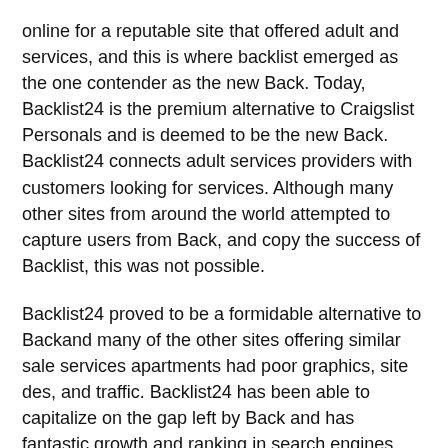online for a reputable site that offered adult and services, and this is where backlist emerged as the one contender as the new Back. Today, Backlist24 is the premium alternative to Craigslist Personals and is deemed to be the new Back. Backlist24 connects adult services providers with customers looking for services. Although many other sites from around the world attempted to capture users from Back, and copy the success of Backlist, this was not possible.
Backlist24 proved to be a formidable alternative to Backand many of the other sites offering similar sale services apartments had poor graphics, site des, and traffic. Backlist24 has been able to capitalize on the gap left by Back and has fantastic growth and ranking in search engines, quickly becoming the new Back.